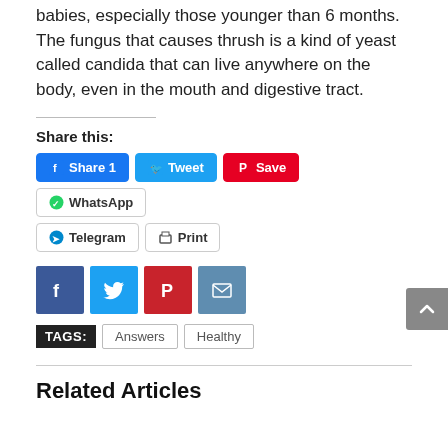babies, especially those younger than 6 months. The fungus that causes thrush is a kind of yeast called candida that can live anywhere on the body, even in the mouth and digestive tract.
Share this:
Share 1 | Tweet | Save | WhatsApp | Telegram | Print
[Figure (infographic): Social share icon buttons: Facebook, Twitter, Pinterest, Email]
TAGS: Answers  Healthy
Related Articles